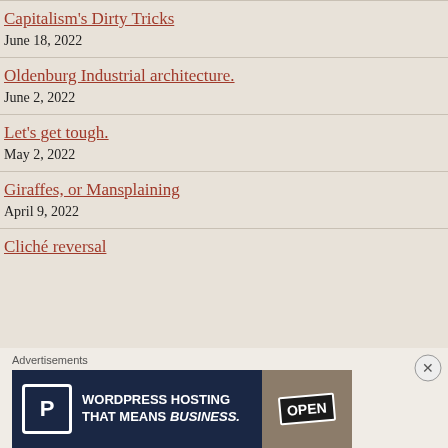Capitalism's Dirty Tricks
June 18, 2022
Oldenburg Industrial architecture.
June 2, 2022
Let's get tough.
May 2, 2022
Giraffes, or Mansplaining
April 9, 2022
Cliché reversal
[Figure (other): Advertisement banner: WordPress Hosting That Means Business with P logo and OPEN sign photo]